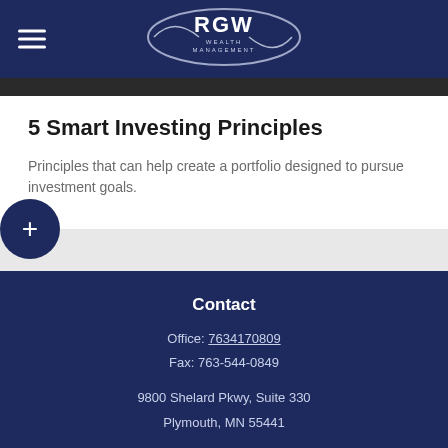[Figure (logo): RGW Wealth Management logo in an oval shape on dark navy header bar]
5 Smart Investing Principles
Principles that can help create a portfolio designed to pursue investment goals.
Contact
Office: 7634170809
Fax: 763-544-0849
9800 Shelard Pkwy, Suite 330
Plymouth, MN 55441